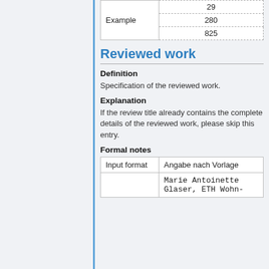| Example | 29 |
|  | 280 |
|  | 825 |
Reviewed work
Definition
Specification of the reviewed work.
Explanation
If the review title already contains the complete details of the reviewed work, please skip this entry.
Formal notes
| Input format | Angabe nach Vorlage |
|  | Marie Antoinette Glaser, ETH Wohn- |